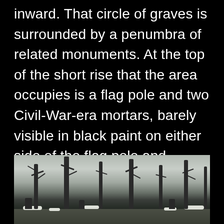inward. That circle of graves is surrounded by a penumbra of related monuments. At the top of the short rise that the area occupies is a flag pole and two Civil-War-era mortars, barely visible in black paint on either side of the flag pole and pointed toward the photographer.
[Figure (photo): A wide panoramic photograph of a cemetery in winter with bare trees, scattered grave monuments, and patches of snow on the ground. The scene is taken from ground level showing a row of bare deciduous trees against a pale winter sky.]